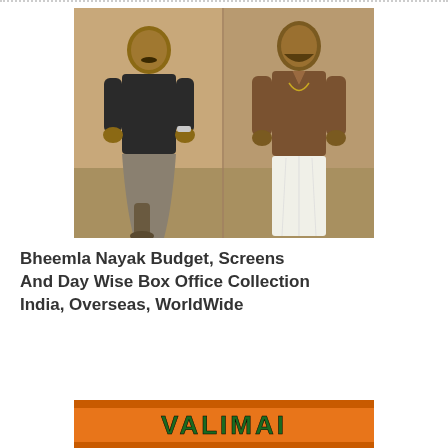[Figure (photo): Two male actors standing side by side in a movie poster for Bheemla Nayak. Left actor wears a dark shirt and lungi, right actor wears a brown shirt and white dhoti.]
Bheemla Nayak Budget, Screens And Day Wise Box Office Collection India, Overseas, WorldWide
[Figure (photo): Partial view of Valimai movie title logo/banner in orange and green colors at the bottom of the page.]